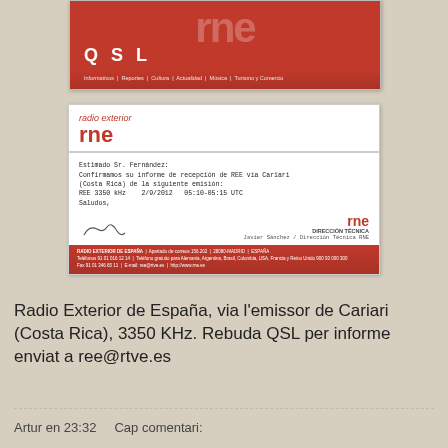[Figure (photo): Top portion of an RNE (Radio Nacional de España) QSL card with red background, showing partial 'rne' logo in large text at top, 'QSL' text below, and navigation bar with 'Informativos | Reportes | Cultura | Actualidad | Música | Turismo y Comercio']
[Figure (photo): Radio Exterior RNE letterhead with handwritten text confirming reception report from Cariari (Costa Rica), station REE 3350 kHz, 2/9/2012 05:10-05:15 UTC, signed by Javier Sánchez / Dirección Técnica RNE, with red RNE footer showing address: RADIO EXTERIOR DE ESPAÑA, Apartado de correos 156.202, 28080-MADRID, ESPAÑA]
Radio Exterior de España, via l'emissor de Cariari (Costa Rica), 3350 KHz. Rebuda QSL per informe enviat a ree@rtve.es
Artur en 23:32    Cap comentari: